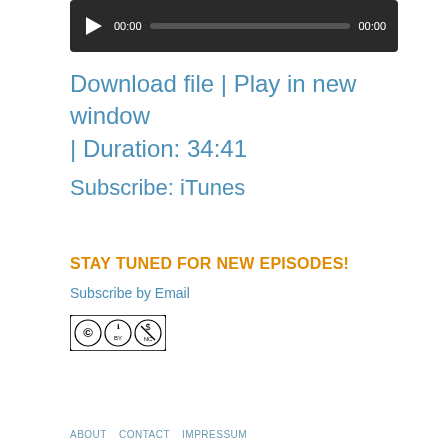[Figure (other): Audio player bar with play button, time display 00:00, progress bar, and end time 00:00 on dark background]
Download file | Play in new window | Duration: 34:41
Subscribe: iTunes
STAY TUNED FOR NEW EPISODES!
Subscribe by Email
[Figure (logo): Creative Commons BY-NC license badge]
ABOUT   CONTACT   IMPRESSUM